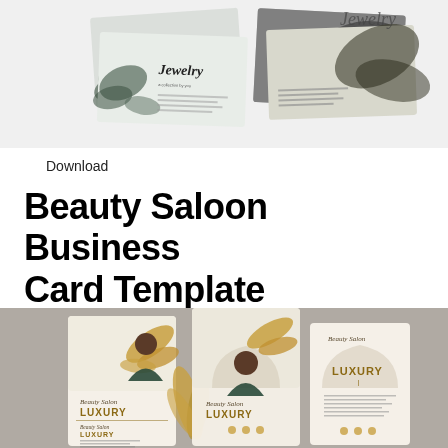[Figure (photo): Top section showing jewelry business card template mockups with dark botanical leaf designs on light backgrounds, featuring overlapping business cards with 'Jewelry' text]
Download
Beauty Saloon Business Card Template
[Figure (photo): Bottom section showing beauty saloon luxury business card template mockups with elegant woman illustration, gold palm leaves, and 'Beauty Salon LUXURY' branding on cream/beige backgrounds, displayed in vertical and horizontal card orientations on a taupe background]